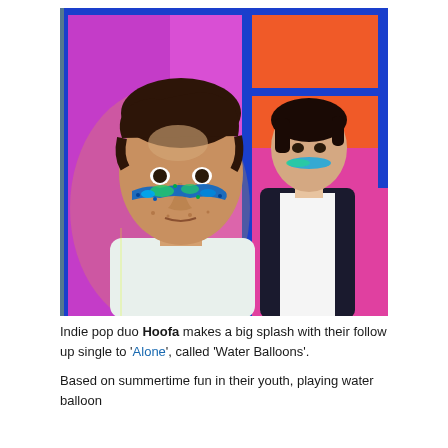[Figure (photo): Two young men with colorful face paint (blue/green splatter pattern under their eyes) posing in front of a vibrant pink/magenta and orange/blue illuminated background with blue-framed panels. The foreground person wears a white t-shirt; the person behind wears a dark jacket over a white shirt.]
Indie pop duo Hoofa makes a big splash with their follow up single to 'Alone', called 'Water Balloons'.
Based on summertime fun in their youth, playing water balloon